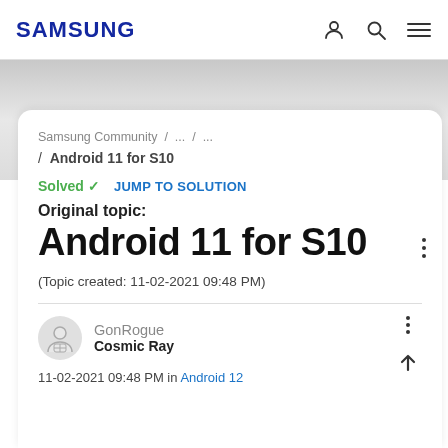SAMSUNG
Samsung Community / ... / ... / Android 11 for S10
Solved ✓  JUMP TO SOLUTION
Original topic:
Android 11 for S10
(Topic created: 11-02-2021 09:48 PM)
GonRogue
Cosmic Ray
11-02-2021 09:48 PM in Android 12